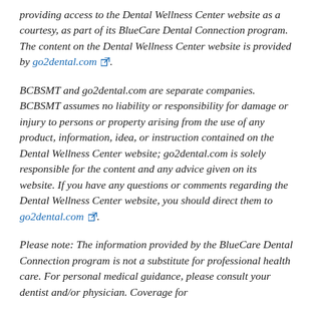providing access to the Dental Wellness Center website as a courtesy, as part of its BlueCare Dental Connection program. The content on the Dental Wellness Center website is provided by go2dental.com.
BCBSMT and go2dental.com are separate companies. BCBSMT assumes no liability or responsibility for damage or injury to persons or property arising from the use of any product, information, idea, or instruction contained on the Dental Wellness Center website; go2dental.com is solely responsible for the content and any advice given on its website. If you have any questions or comments regarding the Dental Wellness Center website, you should direct them to go2dental.com.
Please note: The information provided by the BlueCare Dental Connection program is not a substitute for professional health care. For personal medical guidance, please consult your dentist and/or physician. Coverage for